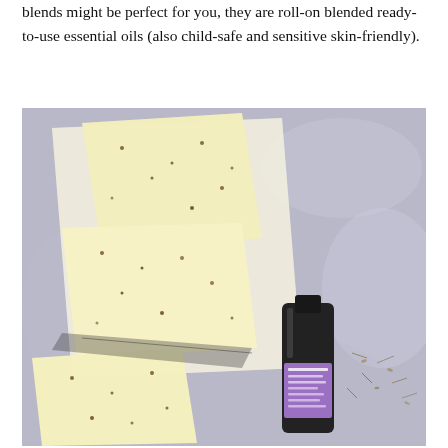blends might be perfect for you, they are roll-on blended ready-to-use essential oils (also child-safe and sensitive skin-friendly).
[Figure (photo): Overhead photo of handmade soap bars with herbs on parchment paper on a stone surface, with a small dark glass bottle of lavender essential oil beside them.]